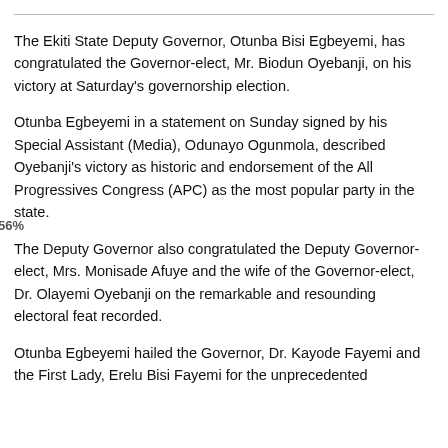The Ekiti State Deputy Governor, Otunba Bisi Egbeyemi, has congratulated the Governor-elect, Mr. Biodun Oyebanji, on his victory at Saturday's governorship election.
Otunba Egbeyemi in a statement on Sunday signed by his Special Assistant (Media), Odunayo Ogunmola, described Oyebanji's victory as historic and endorsement of the All Progressives Congress (APC) as the most popular party in the state.
The Deputy Governor also congratulated the Deputy Governor-elect, Mrs. Monisade Afuye and the wife of the Governor-elect, Dr. Olayemi Oyebanji on the remarkable and resounding electoral feat recorded.
Otunba Egbeyemi hailed the Governor, Dr. Kayode Fayemi and the First Lady, Erelu Bisi Fayemi for the unprecedented